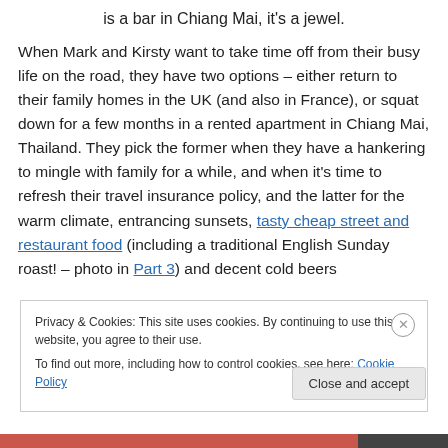is a bar in Chiang Mai, it's a jewel.
When Mark and Kirsty want to take time off from their busy life on the road, they have two options – either return to their family homes in the UK (and also in France), or squat down for a few months in a rented apartment in Chiang Mai, Thailand. They pick the former when they have a hankering to mingle with family for a while, and when it's time to refresh their travel insurance policy, and the latter for the warm climate, entrancing sunsets, tasty cheap street and restaurant food (including a traditional English Sunday roast! – photo in Part 3) and decent cold beers
Privacy & Cookies: This site uses cookies. By continuing to use this website, you agree to their use.
To find out more, including how to control cookies, see here: Cookie Policy
Close and accept